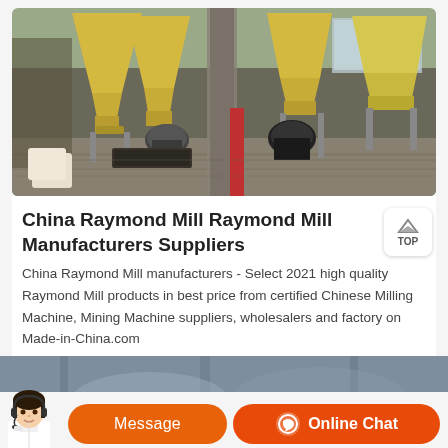[Figure (photo): Industrial Raymond Mill machinery inside a factory warehouse. Several large yellow cone-shaped hoppers/silos and milling machines are visible on a concrete floor with brick walls in background.]
China Raymond Mill Raymond Mill Manufacturers Suppliers
China Raymond Mill manufacturers - Select 2021 high quality Raymond Mill products in best price from certified Chinese Milling Machine, Mining Machine suppliers, wholesalers and factory on Made-in-China.com
[Figure (photo): Partial view of another industrial machinery photo at the bottom of the page.]
Message
Online Chat